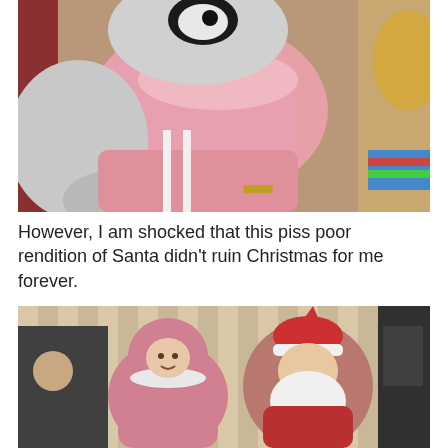[Figure (photo): Vintage photo of a young child in pink dress/outfit sitting on or near a person in a Santa or Easter Bunny mascot costume (gray/white large stuffed-animal head), with another child visible at the right edge.]
However, I am shocked that this piss poor rendition of Santa didn't ruin Christmas for me forever.
[Figure (photo): Vintage sepia-toned photo of a young child in a pink bunny/winter hoodie outfit standing next to a person dressed as Santa Claus with a white beard and red hat, indoors with striped wallpaper in background.]